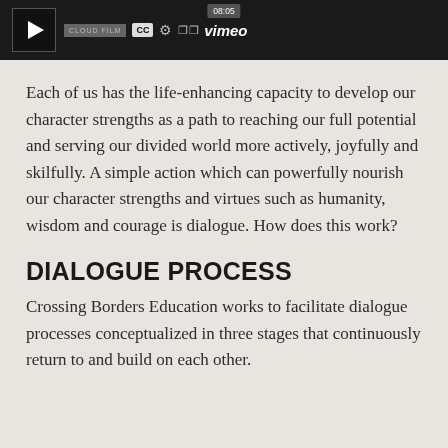[Figure (screenshot): Video player bar showing a Vimeo video with timestamp 08:05, play button, CLOUD FILM label, CC button, settings gear icon, fullscreen icon, and Vimeo logo on dark background.]
Each of us has the life-enhancing capacity to develop our character strengths as a path to reaching our full potential and serving our divided world more actively, joyfully and skilfully. A simple action which can powerfully nourish our character strengths and virtues such as humanity, wisdom and courage is dialogue. How does this work?
DIALOGUE PROCESS
Crossing Borders Education works to facilitate dialogue processes conceptualized in three stages that continuously return to and build on each other.